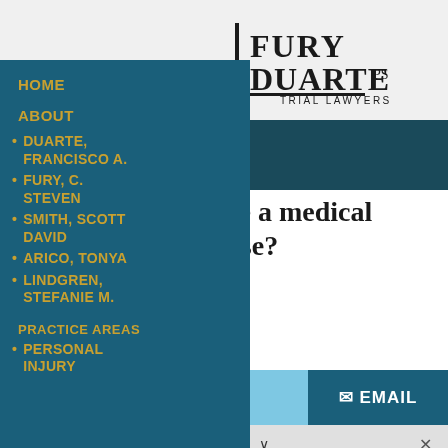[Figure (logo): Fury Duarte PS Trial Lawyers logo with vertical bar accent]
HOME
ABOUT
DUARTE, FRANCISCO A.
FURY, C. STEVEN
SMITH, SCOTT DAVID
ARICO, TONYA
LINDGREN, STEFANIE M.
PRACTICE AREAS
PERSONAL INJURY
…have a medical …e case?
☎ 425-229-8900
✉ EMAIL
Share This ∨  ×